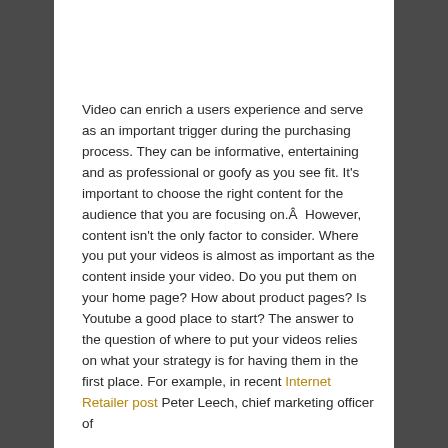Video can enrich a users experience and serve as an important trigger during the purchasing process. They can be informative, entertaining and as professional or goofy as you see fit. It's important to choose the right content for the audience that you are focusing on.Â  However, content isn't the only factor to consider. Where you put your videos is almost as important as the content inside your video. Do you put them on your home page? How about product pages? Is Youtube a good place to start? The answer to the question of where to put your videos relies on what your strategy is for having them in the first place. For example, in recent Internet Retailer post Peter Leech, chief marketing officer of